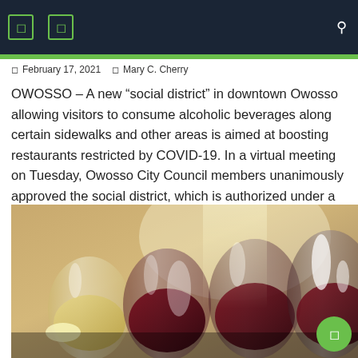Navigation bar with icons and search
February 17, 2021   Mary C. Cherry
OWOSSO – A new “social district” in downtown Owosso allowing visitors to consume alcoholic beverages along certain sidewalks and other areas is aimed at boosting restaurants restricted by COVID-19. In a virtual meeting on Tuesday, Owosso City Council members unanimously approved the social district, which is authorized under a state law enacted in July 2020. [...]
[Figure (photo): Photo of four wine glasses containing red and white wine, backlit against a warm beige background]